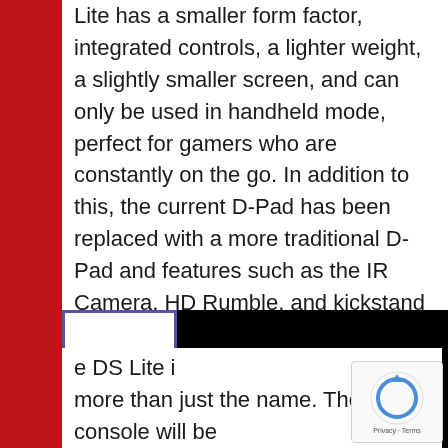Lite has a smaller form factor, integrated controls, a lighter weight, a slightly smaller screen, and can only be used in handheld mode, perfect for gamers who are constantly on the go. In addition to this, the current D-Pad has been replaced with a more traditional D-Pad and features such as the IR Camera, HD Rumble, and kickstand have been removed. Due to being a dedicated for handheld, the Nintendo Switch Lite can only play Nintendo Switch games compatible with handheld mode, additionally any games that use tabletop mode will require you to wirelessly connect separate JoyCons as well as own a means to charge them, such as the charging grip. You can see what else is different over on the official website.
[Figure (screenshot): Black video thumbnail with a purple-bordered icon box containing a red Nintendo Switch cartridge icon on the left side]
e DS Lite i more than just the name. The console will be